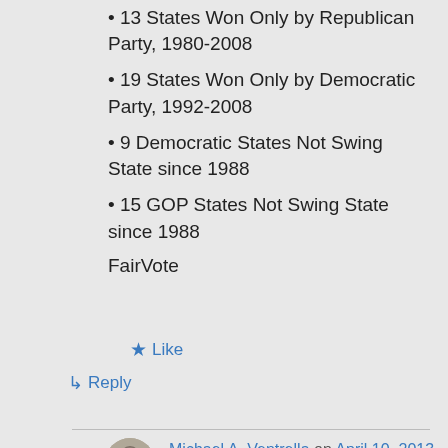13 States Won Only by Republican Party, 1980-2008
19 States Won Only by Democratic Party, 1992-2008
9 Democratic States Not Swing State since 1988
15 GOP States Not Swing State since 1988
FairVote
Like
Reply
Michael A. Ventrella on April 10, 2013 at 3:09 pm